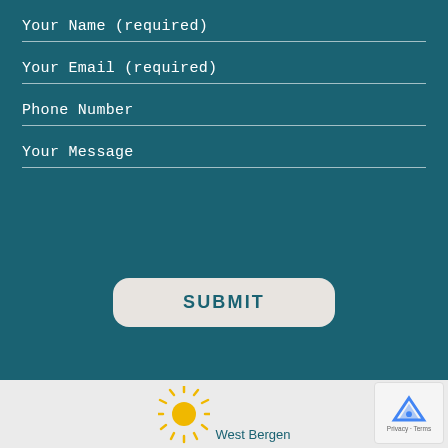Your Name (required)
Your Email (required)
Phone Number
Your Message
SUBMIT
[Figure (logo): West Bergen logo with sunburst icon and partial text 'West Bergen' at the bottom of the page on a light gray background]
[Figure (other): Google reCAPTCHA badge in the bottom-right corner with Privacy and Terms text]